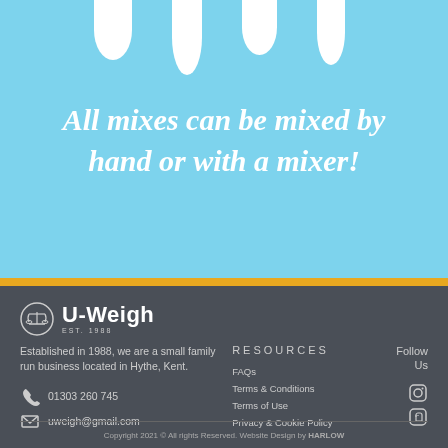[Figure (illustration): Light blue background with white drip/drop shapes hanging from the top edge]
All mixes can be mixed by hand or with a mixer!
[Figure (logo): U-Weigh logo with scales icon, EST. 1988]
Established in 1988, we are a small family run business located in Hythe, Kent.
01303 260 745
uweigh@gmail.com
Resources
FAQs
Terms & Conditions
Terms of Use
Privacy & Cookie Policy
Follow Us
Copyright 2021 © All rights Reserved. Website Design by HARLOW